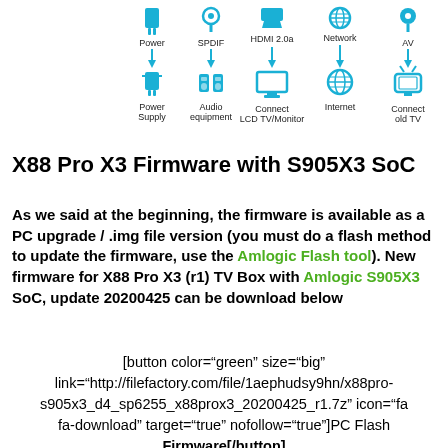[Figure (schematic): Diagram showing connector icons (Power, SPDIF, HDMI 2.0a, Network, AV) connected via arrows to corresponding equipment icons (Power Supply, Audio equipment, Connect LCD TV/Monitor, Internet, Connect old TV), all in blue.]
X88 Pro X3 Firmware with S905X3 SoC
As we said at the beginning, the firmware is available as a PC upgrade / .img file version (you must do a flash method to update the firmware, use the Amlogic Flash tool). New firmware for X88 Pro X3 (r1) TV Box with Amlogic S905X3 SoC, update 20200425 can be download below
[button color="green" size="big" link="http://filefactory.com/file/1aephudsy9hn/x88pro-s905x3_d4_sp6255_x88prox3_20200425_r1.7z" icon="fa fa-download" target="true" nofollow="true"]PC Flash Firmware[/button]